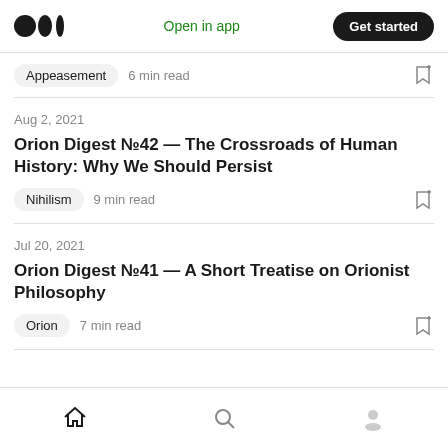Medium logo | Open in app | Get started
Appeasement  6 min read
Aug 2, 2021
Orion Digest №42 — The Crossroads of Human History: Why We Should Persist
Nihilism  9 min read
Jul 20, 2021
Orion Digest №41 — A Short Treatise on Orionist Philosophy
Orion  7 min read
Home | Search | Profile